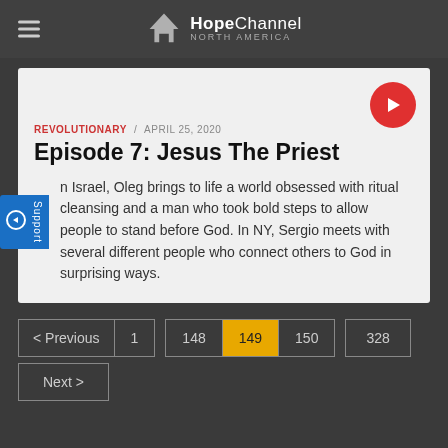Hope Channel North America
REVOLUTIONARY / APRIL 25, 2020
Episode 7: Jesus The Priest
In Israel, Oleg brings to life a world obsessed with ritual cleansing and a man who took bold steps to allow people to stand before God. In NY, Sergio meets with several different people who connect others to God in surprising ways.
< Previous  1  148  149  150  328  Next >